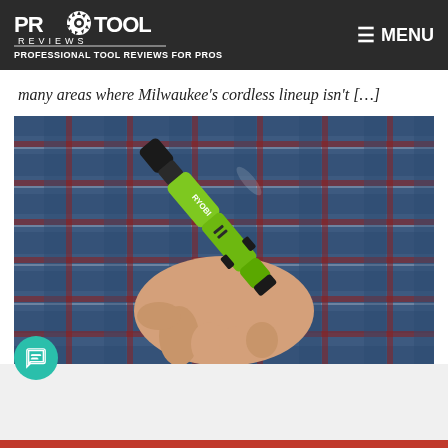PRO TOOL REVIEWS — PROFESSIONAL TOOL REVIEWS FOR PROS | MENU
many areas where Milwaukee's cordless lineup isn't […]
[Figure (photo): A person's hand holding a green and grey Ryobi cordless rotary tool/pen-style drill. The person is wearing a blue plaid flannel shirt. The tool is bright green with black accents and the Ryobi logo visible on the side.]